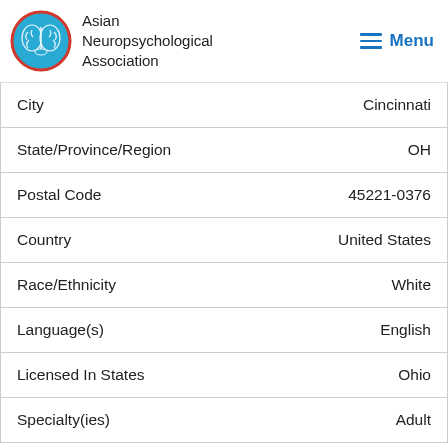Asian Neuropsychological Association | Menu
| Field | Value |
| --- | --- |
| City | Cincinnati |
| State/Province/Region | OH |
| Postal Code | 45221-0376 |
| Country | United States |
| Race/Ethnicity | White |
| Language(s) | English |
| Licensed In States | Ohio |
| Specialty(ies) | Adult |